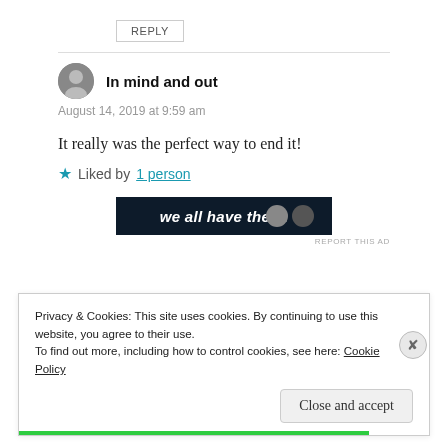REPLY
In mind and out
August 14, 2019 at 9:59 am
It really was the perfect way to end it!
Liked by 1 person
[Figure (screenshot): Dark advertisement banner with white italic bold text 'we all have them.' and circular icons on the right]
REPORT THIS AD
Privacy & Cookies: This site uses cookies. By continuing to use this website, you agree to their use.
To find out more, including how to control cookies, see here: Cookie Policy
Close and accept